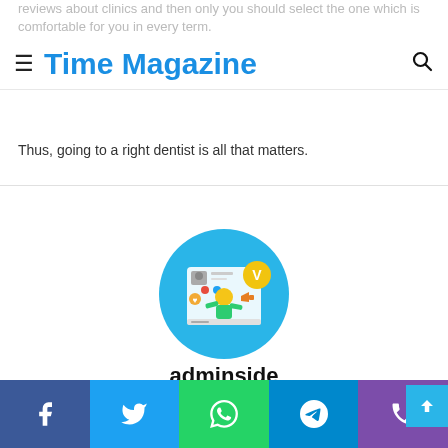reviews about clinics and then only you should select the one which is comfortable for you in every term.
Time Magazine
Thus, going to a right dentist is all that matters.
[Figure (illustration): Circular avatar illustration showing a cartoon person with social media icons around them on a blue background]
adminside
[Figure (other): Home icon symbol]
Social share buttons: Facebook, Twitter, WhatsApp, Telegram, Phone